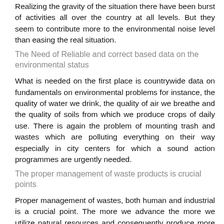Realizing the gravity of the situation there have been burst of activities all over the country at all levels. But they seem to contribute more to the environmental noise level than easing the real situation.
The Need of Reliable and correct based data on the environmental status
What is needed on the first place is countrywide data on fundamentals on environmental problems for instance, the quality of water we drink, the quality of air we breathe and the quality of soils from which we produce crops of daily use. There is again the problem of mounting trash and wastes which are polluting everything on their way especially in city centers for which a sound action programmes are urgently needed.
The proper management of waste products is crucial points
Proper management of wastes, both human and industrial is a crucial point. The more we advance the more we utilize natural resources and consequently produce more waste products of